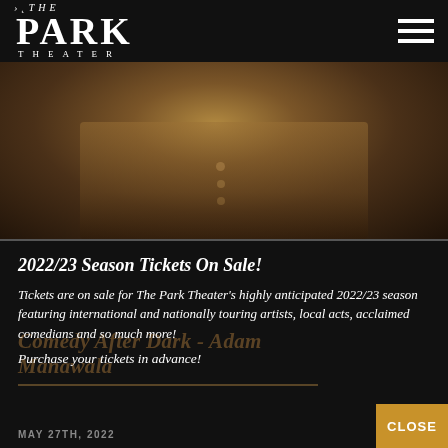The Park Theater
[Figure (photo): Close-up photo of a person wearing a tan/brown button-up shirt, dark and warm-toned lighting]
2022/23 Season Tickets On Sale!
Tickets are on sale for The Park Theater's highly anticipated 2022/23 season featuring international and nationally touring artists, local acts, acclaimed comedians and so much more!
Purchase your tickets in advance!
MAY 27TH, 2022